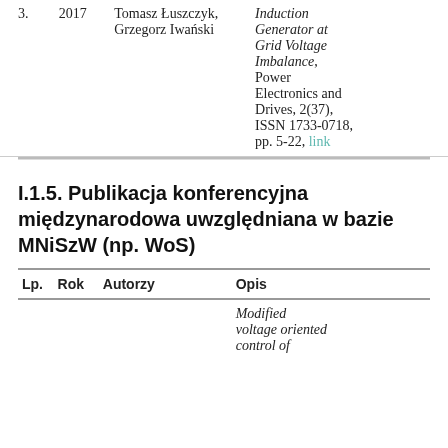| Lp. | Rok | Autorzy | Opis |
| --- | --- | --- | --- |
| 3. | 2017 | Tomasz Łuszczyk, Grzegorz Iwański | Induction Generator at Grid Voltage Imbalance, Power Electronics and Drives, 2(37), ISSN 1733-0718, pp. 5-22, link |
I.1.5. Publikacja konferencyjna międzynarodowa uwzględniana w bazie MNiSzW (np. WoS)
| Lp. | Rok | Autorzy | Opis |
| --- | --- | --- | --- |
|  |  |  | Modified voltage oriented control of |